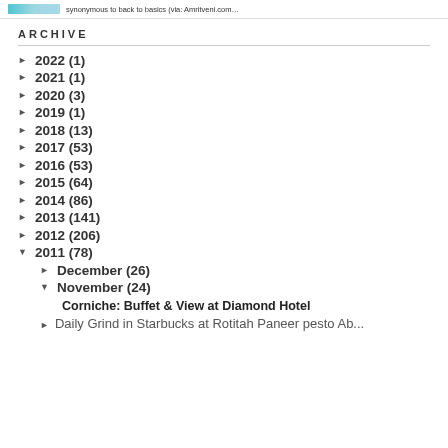synonymous to back to basics (via: Amritveni.com…
ARCHIVE
► 2022 (1)
► 2021 (1)
► 2020 (3)
► 2019 (1)
► 2018 (13)
► 2017 (53)
► 2016 (53)
► 2015 (64)
► 2014 (86)
► 2013 (141)
► 2012 (206)
▼ 2011 (78)
► December (26)
▼ November (24)
Corniche: Buffet & View at Diamond Hotel
► Daily Grind in Starbucks at Rotitah Paneer pesto Ab...